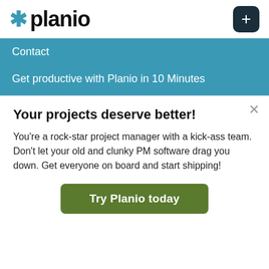[Figure (logo): Planio logo: asterisk in teal followed by bold 'planio' text, with a dark navy plus button on the right]
Contact
Get productive with Planio in 10 Minutes
Learn all about issues
Create a custom workflow for recurring tasks
Set up the Help Desk
Set up Planio Storage
Make Redmine Projects Public on Planio
Your projects deserve better!
You're a rock-star project manager with a kick-ass team. Don't let your old and clunky PM software drag you down. Get everyone on board and start shipping!
Try Planio today